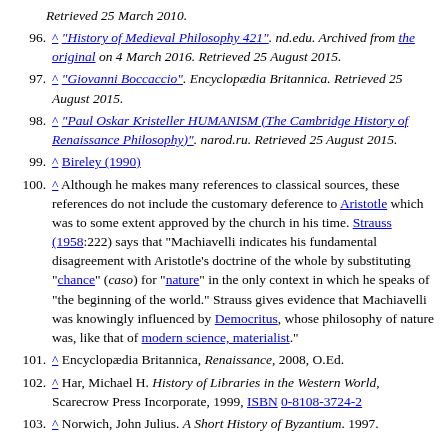Retrieved 25 March 2010.
96. ^ "History of Medieval Philosophy 421". nd.edu. Archived from the original on 4 March 2016. Retrieved 25 August 2015.
97. ^ "Giovanni Boccaccio". Encyclopædia Britannica. Retrieved 25 August 2015.
98. ^ "Paul Oskar Kristeller HUMANISM (The Cambridge History of Renaissance Philosophy)". narod.ru. Retrieved 25 August 2015.
99. ^ Bireley (1990)
100. ^ Although he makes many references to classical sources, these references do not include the customary deference to Aristotle which was to some extent approved by the church in his time. Strauss (1958:222) says that "Machiavelli indicates his fundamental disagreement with Aristotle's doctrine of the whole by substituting "chance" (caso) for "nature" in the only context in which he speaks of "the beginning of the world." Strauss gives evidence that Machiavelli was knowingly influenced by Democritus, whose philosophy of nature was, like that of modern science, materialist."
101. ^ Encyclopædia Britannica, Renaissance, 2008, O.Ed.
102. ^ Har, Michael H. History of Libraries in the Western World, Scarecrow Press Incorporate, 1999, ISBN 0-8108-3724-2
103. ^ Norwich, John Julius. A Short History of Byzantium. 1997.